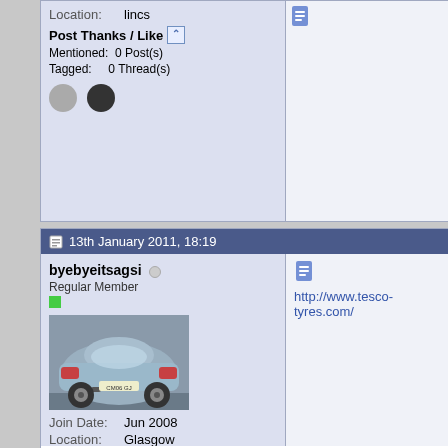Location: lincs
Post Thanks / Like
Mentioned: 0 Post(s)
Tagged: 0 Thread(s)
13th January 2011, 18:19
byebyeitsagsi
Regular Member
[Figure (photo): Photo of the rear of a silver/grey Vauxhall car]
Join Date: Jun 2008
Location: Glasgow
Post Thanks / Like
http://www.tesco-tyres.com/